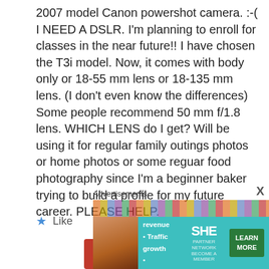2007 model Canon powershot camera. :-( I NEED A DSLR. I'm planning to enroll for classes in the near future!! I have chosen the T3i model. Now, it comes with body only or 18-55 mm lens or 18-135 mm lens. (I don't even know the differences) Some people recommend 50 mm f/1.8 lens. WHICH LENS do I get? Will be using it for regular family outings photos or home photos or some reguar food photography since I'm a beginner baker trying to build a profile for my future career. PLEASE HELP.
Like
[Figure (photo): Partial view of a user avatar photo (red/dark tones)]
Advertisements
[Figure (screenshot): SHE Partner Network advertisement banner with bullet points: Earning site & social revenue, Traffic growth, Speaking on our stages. Includes LEARN MORE button and logo.]